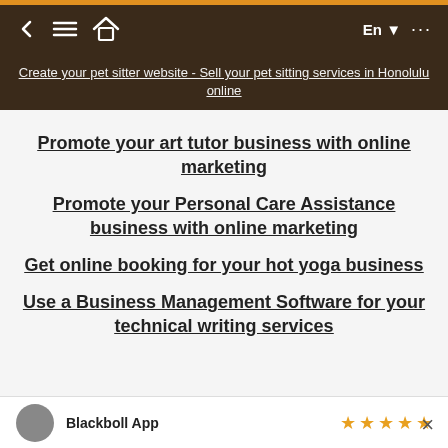Navigation bar with back, menu, home icons and language selector (En)
Create your pet sitter website - Sell your pet sitting services in Honolulu online
Promote your art tutor business with online marketing
Promote your Personal Care Assistance business with online marketing
Get online booking for your hot yoga business
Use a Business Management Software for your technical writing services
Blackboll App ★★★★★ ×